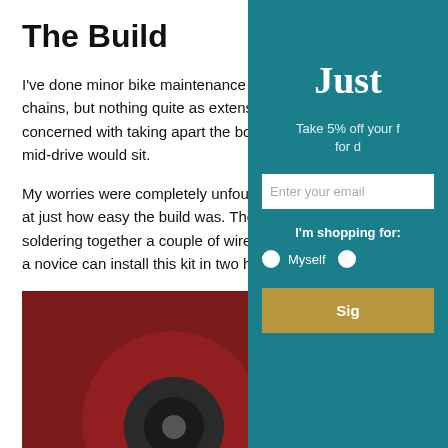The Build
I've done minor bike maintenance like cha chains, but nothing quite as extensive as t concerned with taking apart the bottom br mid-drive would sit.
My worries were completely unfounded. I at just how easy the build was. The most t soldering together a couple of wires. With a novice can install this kit in two hours.
[Figure (photo): Left photo: Red bicycle bottom bracket area with chainring and components visible]
[Figure (photo): Right photo: Red bicycle frame close-up with silver component]
From left to right: Disassembling th
Just
Take 5% off your f for d
Enter your email
I'm shopping for:
Myself
Sig